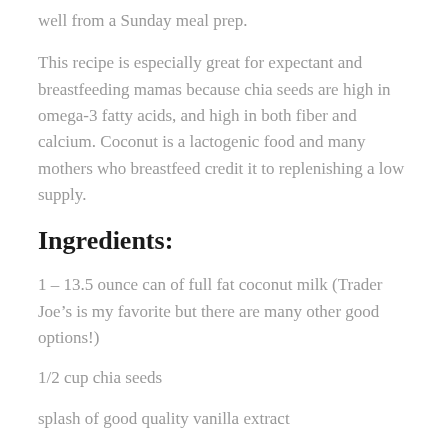well from a Sunday meal prep.
This recipe is especially great for expectant and breastfeeding mamas because chia seeds are high in omega-3 fatty acids, and high in both fiber and calcium. Coconut is a lactogenic food and many mothers who breastfeed credit it to replenishing a low supply.
Ingredients:
1 – 13.5 ounce can of full fat coconut milk (Trader Joe's is my favorite but there are many other good options!)
1/2 cup chia seeds
splash of good quality vanilla extract